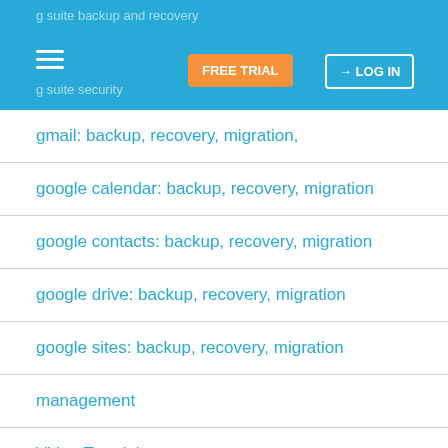g suite backup and recovery
g suite security
gmail: backup, recovery, migration,
google calendar: backup, recovery, migration
google contacts: backup, recovery, migration
google drive: backup, recovery, migration
google sites: backup, recovery, migration
management
Video Tutorials